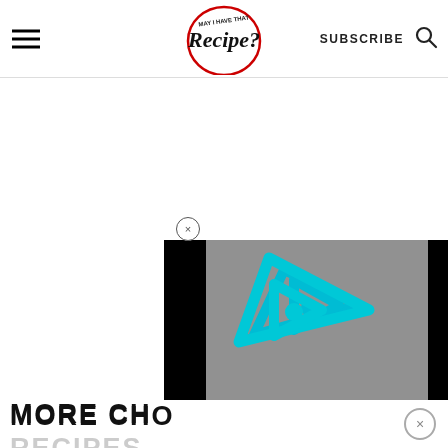May I Have That Recipe? — SUBSCRIBE
[Figure (screenshot): Video player with gray background and cyan/teal play button logo (triangle with 'i' shape), flanked by black bars on left and right, with black curved shape at bottom-left corner]
MORE CHOCOLATE RECIPES